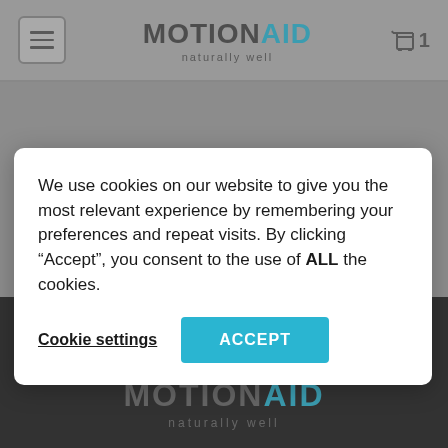MOTIONAID naturally well — navigation header with menu button and cart icon (1 item)
[Figure (screenshot): Gray background area below header, transitioning to dark footer with social media icons (Facebook, LinkedIn, Twitter, YouTube)]
We use cookies on our website to give you the most relevant experience by remembering your preferences and repeat visits. By clicking “Accept”, you consent to the use of ALL the cookies.
Cookie settings
ACCEPT
[Figure (logo): MOTIONAID naturally well logo in dark footer area]